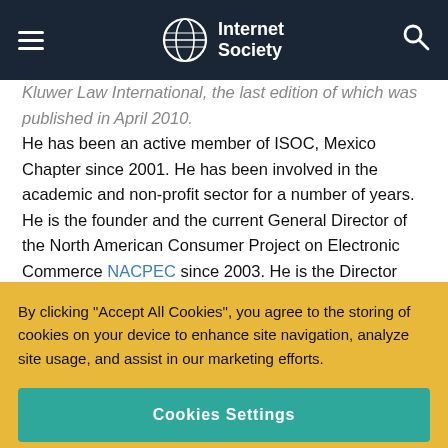Internet Society
Kluwer Law International, the last edition of which was published in April 2010.
He has been an active member of ISOC, Mexico Chapter since 2001. He has been involved in the academic and non-profit sector for a number of years. He is the founder and the current General Director of the North American Consumer Project on Electronic Commerce NACPEC since 2003. He is the Director and Coordinator of CiberdelincuenciaOrg, an initiative initially
By clicking “Accept All Cookies”, you agree to the storing of cookies on your device to enhance site navigation, analyze site usage, and assist in our marketing efforts.
Cookies Settings
Reject Optional Cookies